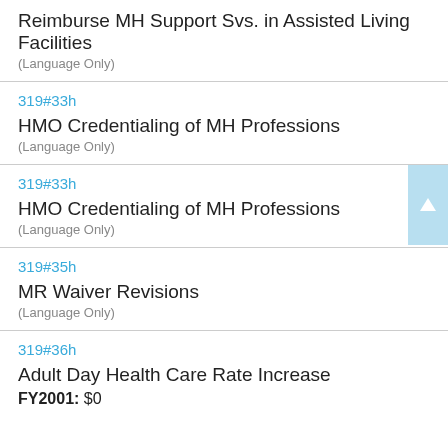Reimburse MH Support Svs. in Assisted Living Facilities
(Language Only)
319#33h
HMO Credentialing of MH Professions
(Language Only)
319#33h
HMO Credentialing of MH Professions
(Language Only)
319#35h
MR Waiver Revisions
(Language Only)
319#36h
Adult Day Health Care Rate Increase
FY2001: $0